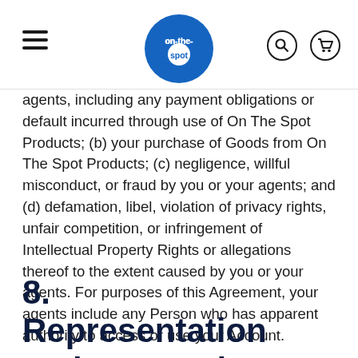on-the-spot [logo]
agents, including any payment obligations or default incurred through use of On The Spot Products; (b) your purchase of Goods from On The Spot Products; (c) negligence, willful misconduct, or fraud by you or your agents; and (d) defamation, libel, violation of privacy rights, unfair competition, or infringement of Intellectual Property Rights or allegations thereof to the extent caused by you or your agents. For purposes of this Agreement, your agents include any Person who has apparent authority to access or use your Account.
8.          Representation and Warranties